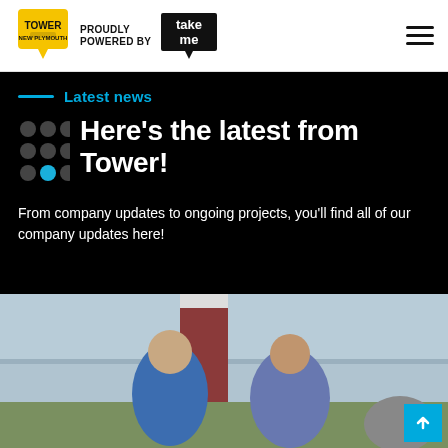Tower Cabs New Plymouth — PROUDLY POWERED BY takeme
Latest news
Here's the latest from Tower!
From company updates to ongoing projects, you'll find all of our company updates here!
[Figure (photo): Two men smiling outdoors in front of a lighthouse/red brick tower structure near water. Left man wearing blue polo shirt, right man wearing a floral shirt and glasses.]